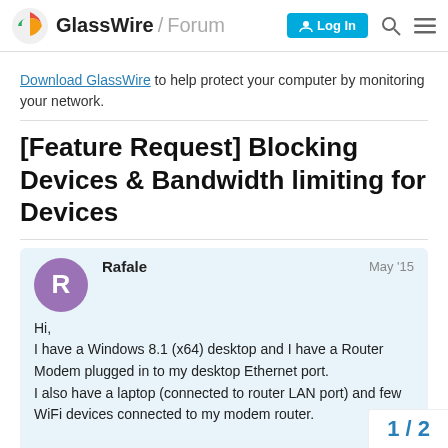GlassWire / Forum — Log In
Download GlassWire to help protect your computer by monitoring your network.
[Feature Request] Blocking Devices & Bandwidth limiting for Devices
Rafale  May '15
Hi,
I have a Windows 8.1 (x64) desktop and I have a Router Modem plugged in to my desktop Ethernet port.
I also have a laptop (connected to router LAN port) and few WiFi devices connected to my modem router.

I would like to know whether is it possible t
1 / 2